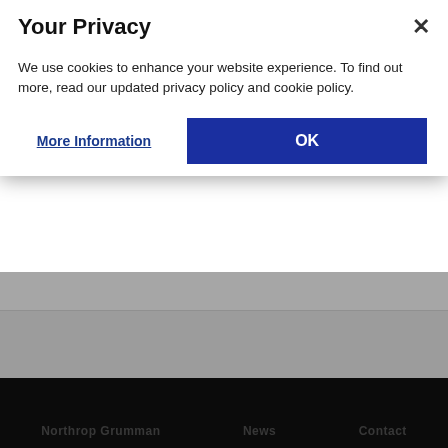[Figure (other): Instagram icon circle (dark grey) with camera icon]
@NorthropGrumman
[Figure (other): RSS/news feed icon circle (dark grey) with signal icon]
News feeds by topic
[Figure (other): Email Alerts icon circle (dark grey) with envelope icon]
Email Alerts
News sent to your inbox
[Figure (other): SMS Alerts icon circle (dark grey) with phone icon]
SMS Alerts
News sent to your phone
Northrop Grumman  News  Contact
Your Privacy
We use cookies to enhance your website experience. To find out more, read our updated privacy policy and cookie policy.
More Information
OK